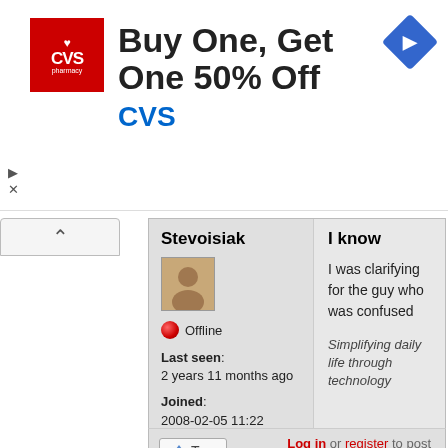[Figure (screenshot): CVS Pharmacy advertisement banner: Buy One, Get One 50% Off with CVS logo and navigation arrow icon]
Stevoisiak
Offline
Last seen: 2 years 11 months ago
Joined: 2008-02-05 11:22
I know
I was clarifying for the guy who was confused
Simplifying daily life through technology
Log in or register to post comments
April 28, 2008 - 8:01am (Reply to #83) #84
ZachHudock
based on all the smilies he
based on all the smilies he